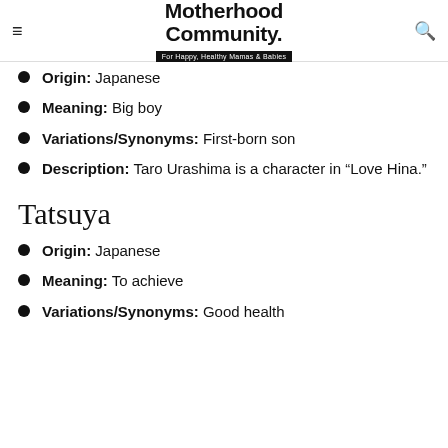Motherhood Community. For Happy, Healthy Mamas & Babies
Origin: Japanese
Meaning: Big boy
Variations/Synonyms: First-born son
Description: Taro Urashima is a character in “Love Hina.”
Tatsuya
Origin: Japanese
Meaning: To achieve
Variations/Synonyms: Good health